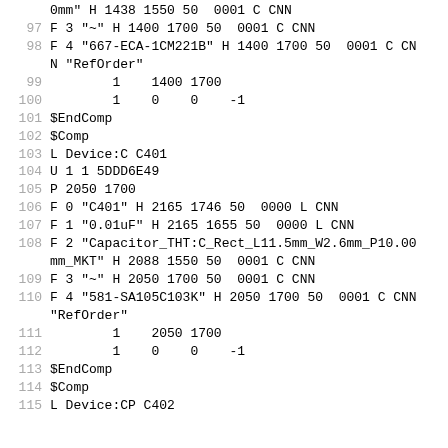0mm" H 1438 1550 50  0001 C CNN
 97   F 3 "~" H 1400 1700 50  0001 C CNN
 98   F 4 "667-ECA-1CM221B" H 1400 1700 50  0001 C CNN
      N "RefOrder"
 99           1    1400 1700
100           1    0    0    -1
101   $EndComp
102   $Comp
103   L Device:C C401
104   U 1 1 5DDD6E49
105   P 2050 1700
106   F 0 "C401" H 2165 1746 50  0000 L CNN
107   F 1 "0.01uF" H 2165 1655 50  0000 L CNN
108   F 2 "Capacitor_THT:C_Rect_L11.5mm_W2.6mm_P10.00
      mm_MKT" H 2088 1550 50  0001 C CNN
109   F 3 "~" H 2050 1700 50  0001 C CNN
110   F 4 "581-SA105C103K" H 2050 1700 50  0001 C CNN
      "RefOrder"
111           1    2050 1700
112           1    0    0    -1
113   $EndComp
114   $Comp
115   L Device:CP C402